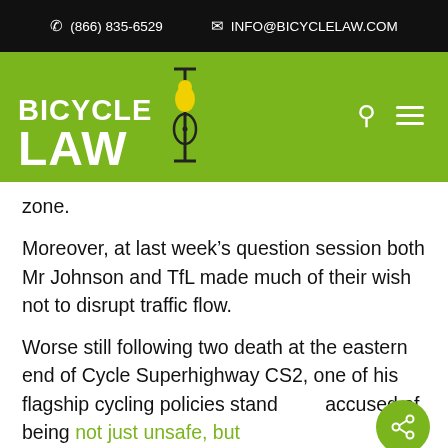(866) 835-6529   INFO@BICYCLELAW.COM
[Figure (logo): Bicycle Law logo with cyclist icon on green navigation bar with search and hamburger menu icons]
zone.
Moreover, at last week’s question session both Mr Johnson and TfL made much of their wish not to disrupt traffic flow.
Worse still following two death at the eastern end of Cycle Superhighway CS2, one of his flagship cycling policies stands accused of being not just unsafe, but